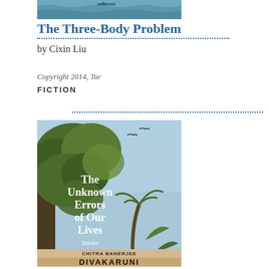[Figure (illustration): Top portion of a book cover image, appears to show a maritime/water scene]
The Three-Body Problem
by Cixin Liu
Copyright 2014, Tor
FICTION
[Figure (illustration): Book cover of 'The Unknown Errors of Our Lives' by Chitra Banerjee Divakaruni, showing trees, tropical plants, and birds against a blue sky background. Subtitle: Stories. Bottom includes: 'Bestselling author of Sister of My Heart and The Vine of Desire']